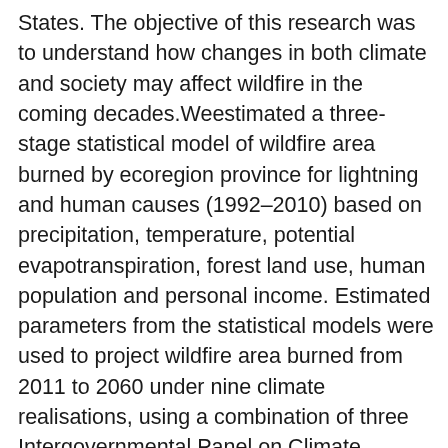States. The objective of this research was to understand how changes in both climate and society may affect wildfire in the coming decades.Weestimated a three-stage statistical model of wildfire area burned by ecoregion province for lightning and human causes (1992–2010) based on precipitation, temperature, potential evapotranspiration, forest land use, human population and personal income. Estimated parameters from the statistical models were used to project wildfire area burned from 2011 to 2060 under nine climate realisations, using a combination of three Intergovernmental Panel on Climate Change-based emissions scenarios (A1B, A2, B2) and three general circulation models. Monte Carlo simulation quantifies ranges in projected area burned by county by year, and in total for higher-level spatial aggregations. Projections indicated, overall in the Southeast, that median annual area burned by lightning-ignited wildfire